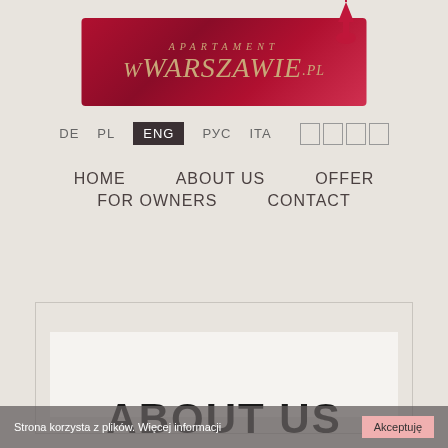[Figure (logo): ApartamentWWarszawie.pl logo — red banner with gold italic text and a Warsaw spire above]
DE  PL  ENG  РУС  ITA
HOME    ABOUT US    OFFER    FOR OWNERS    CONTACT
[Figure (screenshot): Website content area with light border and white inner box]
ABOUT US
Strona korzysta z plików. Więcej informacji   Akceptuję